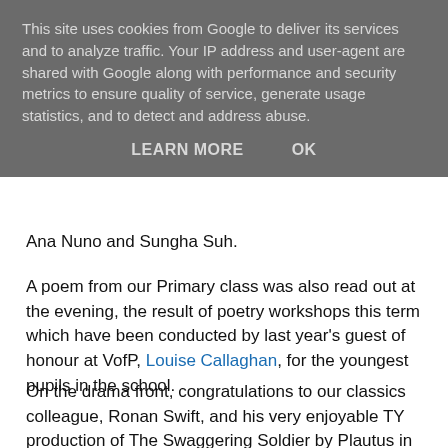This site uses cookies from Google to deliver its services and to analyze traffic. Your IP address and user-agent are shared with Google along with performance and security metrics to ensure quality of service, generate usage statistics, and to detect and address abuse.
LEARN MORE    OK
Ana Nuno and Sungha Suh.
A poem from our Primary class was also read out at the evening, the result of poetry workshops this term which have been conducted by last year's guest of honour at VofP, Louise Callaghan, for the youngest pupils in the school.
On the drama front, congratulations to our classics colleague, Ronan Swift, and his very enjoyable TY production of The Swaggering Soldier by Plautus in the Grange Courtyard (below) on May 31st. Theatre visits this term included a V form outing to the Walter Asmus
[Figure (photo): Outdoor courtyard scene showing people in what appears to be a theater performance, with a building facade in the background]